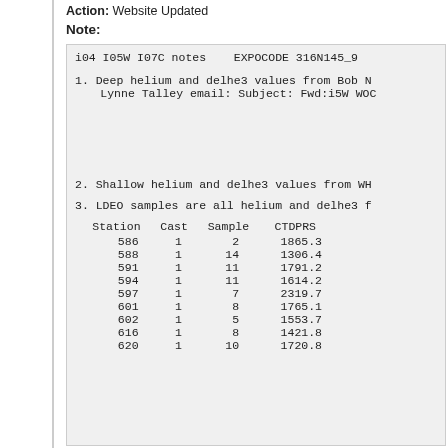Action: Website Updated
Note:
i04 I05W I07C notes    EXPOCODE 316N145_9

1. Deep helium and delhe3 values from Bob N
   Lynne Talley email: Subject: Fwd:i5W WOC






2. Shallow helium and delhe3 values from WH

3. LDEO samples are all helium and delhe3 f
| Station | Cast | Sample | CTDPRS |
| --- | --- | --- | --- |
| 586 | 1 | 2 | 1865.3 |
| 588 | 1 | 14 | 1306.4 |
| 591 | 1 | 11 | 1791.2 |
| 594 | 1 | 11 | 1614.2 |
| 597 | 1 | 7 | 2319.7 |
| 601 | 1 | 8 | 1765.1 |
| 602 | 1 | 5 | 1553.7 |
| 616 | 1 | 8 | 1421.8 |
| 620 | 1 | 10 | 1720.8 |